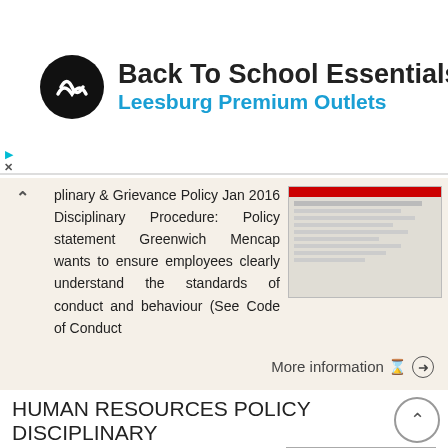[Figure (logo): Back To School Essentials advertisement banner with circular logo icon, title text, and navigation diamond icon]
plinary & Grievance Policy Jan 2016 Disciplinary Procedure: Policy statement Greenwich Mencap wants to ensure employees clearly understand the standards of conduct and behaviour (See Code of Conduct
More information →
HUMAN RESOURCES POLICY DISCIPLINARY
North of England Clinical Commissioning Groups HUMAN RESOURCES POLICY DISCIPLINARY Policy Number: HR07 Version Number: 3.0 Issued Date: March 2017 Review Date: March 2020 Sponsoring Director: Prepared